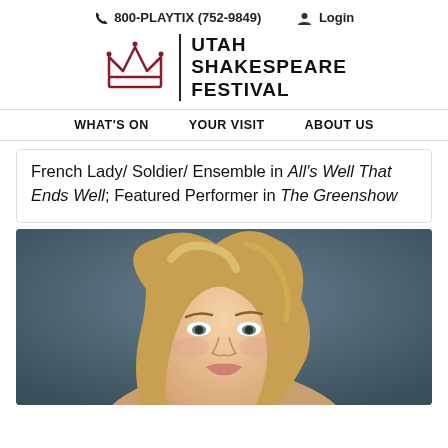📞 800-PLAYTIX (752-9849)   Login
[Figure (logo): Utah Shakespeare Festival logo: a red/dark-red crown icon next to a vertical bar and bold text reading UTAH SHAKESPEARE FESTIVAL]
WHAT'S ON   YOUR VISIT   ABOUT US
French Lady/ Soldier/ Ensemble in All's Well That Ends Well; Featured Performer in The Greenshow
[Figure (photo): Headshot photograph of a blonde woman against a dark blue-grey background, looking slightly to the side.]